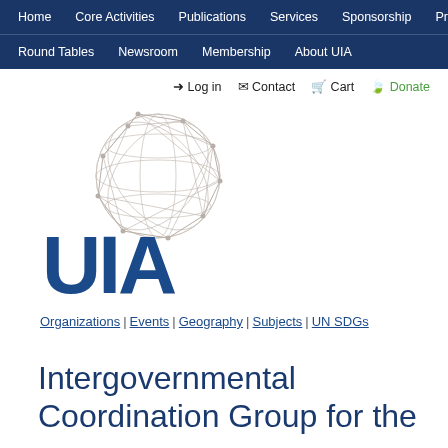Home | Core Activities | Publications | Services | Sponsorship | Projects | Round Tables | Newsroom | Membership | About UIA
Log in | Contact | Cart | Donate
[Figure (logo): UIA logo with globe wireframe graphic above large blue UIA letters]
Organizations | Events | Geography | Subjects | UN SDGs
Intergovernmental Coordination Group for the